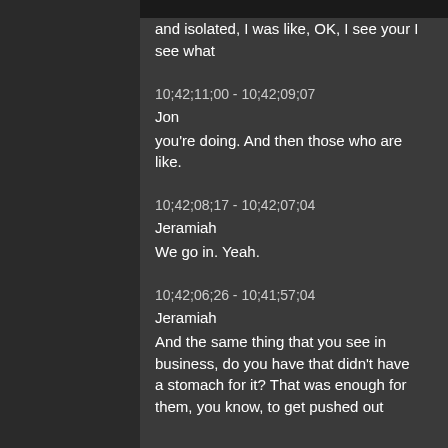and isolated, I was like, OK, I see your I see what
10;42;11;00 - 10;42;09;07
Jon
you're doing. And then those who are like.
10;42;08;17 - 10;42;07;04
Jeramiah
We go in. Yeah.
10;42;06;26 - 10;41;57;04
Jeramiah
And the same thing that you see in business, do you have that didn't have a stomach for it? That was enough for them, you know, to get pushed out